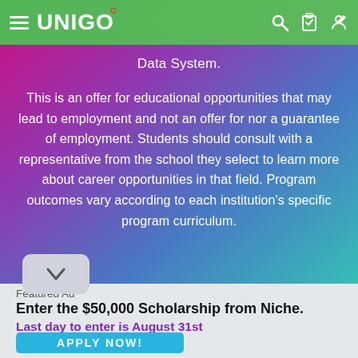UNIGO
Data System.
This is an offer for educational opportunities that may lead to employment and not an offer for nor a guarantee of employment. Students should consult with a representative from the school they select to learn more about career opportunities in that field. Program outcomes vary according to each institution's specific program curriculum.
Featured Ad
Enter the $50,000 Scholarship from Niche.
Last day to enter is August 31st
APPLY NOW!